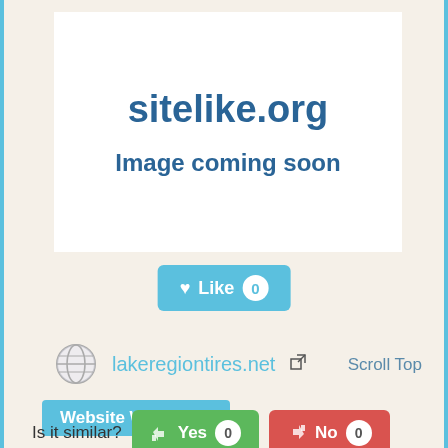[Figure (screenshot): Website preview placeholder showing 'sitelike.org' and 'Image coming soon' text on white background]
[Figure (other): Like button with heart icon showing count 0]
lakeregiontires.net
Scroll Top
Website Worth: $ 0
Is it similar?
[Figure (other): Yes button with thumbs up icon and count 0]
[Figure (other): No button with thumbs down icon and count 0]